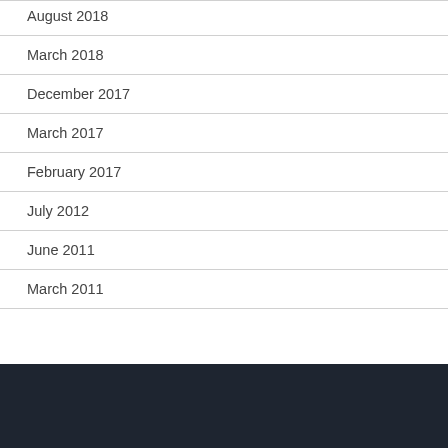August 2018
March 2018
December 2017
March 2017
February 2017
July 2012
June 2011
March 2011